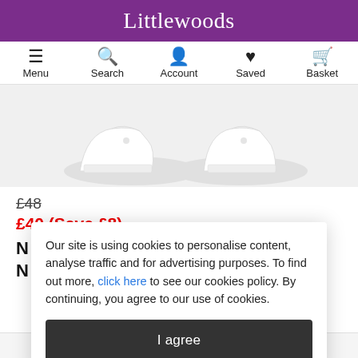Littlewoods
[Figure (screenshot): Navigation bar with Menu, Search, Account, Saved, Basket icons]
[Figure (photo): Product image of white sneakers/trainers from the ankle down on a white background]
£48
£40 (Save £8)
Our site is using cookies to personalise content, analyse traffic and for advertising purposes. To find out more, click here to see our cookies policy. By continuing, you agree to our use of cookies.
I agree
Spread the cost, interest free!